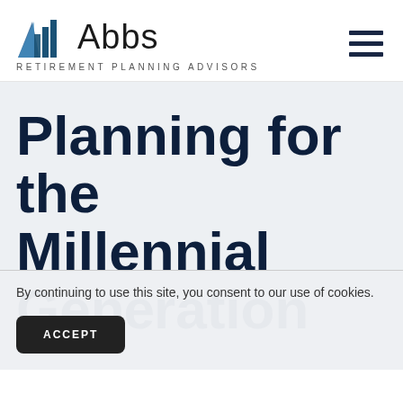[Figure (logo): Abbs Retirement Planning Advisors logo with blue mountain/bar-chart icon and text 'Abbs']
Planning for the Millennial Generation
By continuing to use this site, you consent to our use of cookies.
ACCEPT